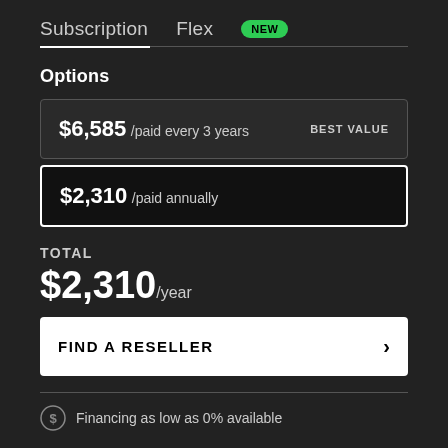Subscription  Flex  NEW
Options
$6,585 /paid every 3 years  BEST VALUE
$2,310 /paid annually
TOTAL
$2,310/year
FIND A RESELLER
Financing as low as 0% available